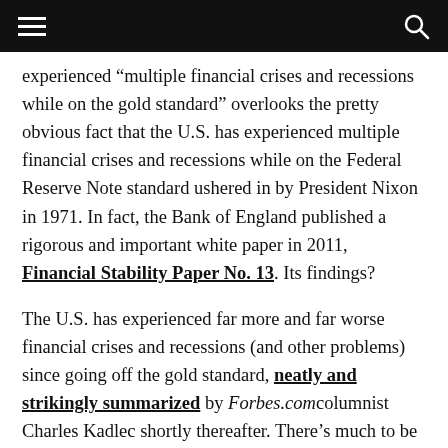[navigation bar with menu and search icons]
experienced “multiple financial crises and recessions while on the gold standard” overlooks the pretty obvious fact that the U.S. has experienced multiple financial crises and recessions while on the Federal Reserve Note standard ushered in by President Nixon in 1971. In fact, the Bank of England published a rigorous and important white paper in 2011, Financial Stability Paper No. 13. Its findings?
The U.S. has experienced far more and far worse financial crises and recessions (and other problems) since going off the gold standard, neatly and strikingly summarized by Forbes.com columnist Charles Kadlec shortly thereafter. There’s much to be said for people who live in glass houses shouldn’t